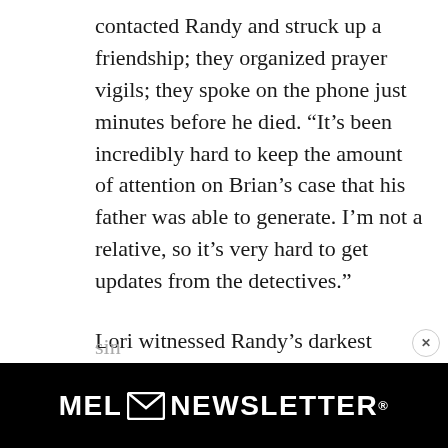contacted Randy and struck up a friendship; they organized prayer vigils; they spoke on the phone just minutes before he died. “It’s been incredibly hard to keep the amount of attention on Brian’s case that his father was able to generate. I’m not a relative, so it’s very hard to get updates from the detectives.”
Lori witnessed Randy’s darkest moments and his quest for clues: “It was heartbreaking to watch a father suffer, not knowing what happened to his son.” Somebody, somewhere, she says, knows what happened: “I feel that one or more of the people out with Brian on the night of his dis... sinc...
[Figure (other): MEL Newsletter advertisement banner. Black background with white bold text reading 'MEL [envelope icon] NEWSLETTER' with a registered trademark symbol. A circular close button with an X is visible in the top right corner of the banner.]